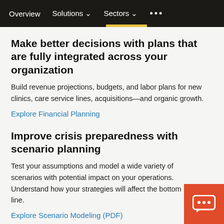Overview   Solutions   Sectors   ...
Make better decisions with plans that are fully integrated across your organization
Build revenue projections, budgets, and labor plans for new clinics, care service lines, acquisitions—and organic growth.
Explore Financial Planning
Improve crisis preparedness with scenario planning
Test your assumptions and model a wide variety of scenarios with potential impact on your operations. Understand how your strategies will affect the bottom line.
Explore Scenario Modeling (PDF)